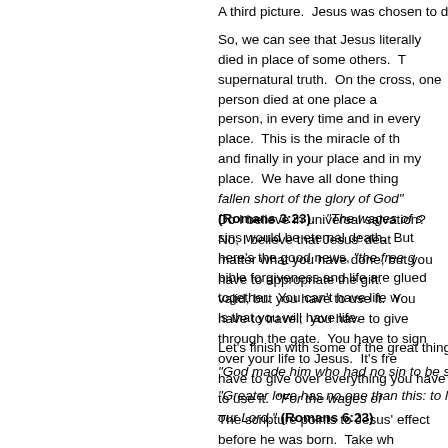A third picture.  Jesus was chosen to die over Barabbas, Jesus d[ied]
So, we can see that Jesus literally died in place of some others.  T[his is a] supernatural truth.  On the cross, one person died at one place a[nd] person, in every time and in every place.  This is the miracle of th[e cross] and finally in your place and in my place.  We have all done thing[s...] fallen short of the glory of God" (Romans 3:23).  "The wages of s[in]... sins would be eternal death.  But here's the good news, "the free g[ift of God]... bible forgiveness and life are glued together.  You can't have life w[ithout forgiveness] is that you will have life.
Do I believe in universal salvation?  No, I believe that Jesus' deat[h is] matter what you have done, but you have to appropriate the gift. valid, but you have to use it.  You have to travel;  you have to give through the gate.  You have to sign over your life to Jesus.  It's fre[e but you] have to give over everything you have to use it.  "For the wages of [sin is death, but the free gift of God is eternal life in Christ Jesus] our Lord." (Romans 6:23)
Let's finish with some of the great things the scripture says about
"God made him who had no sin to be sin for us, so that in him we m[ight become]
"Greater love has no one than this: to lay down one's life for one's f[riends]
The scripture points to Jesus' effect before he was born.  Take wh[at] 1 Corinthians 10:1-4 "For I do not want you to be ignorant of th[e]